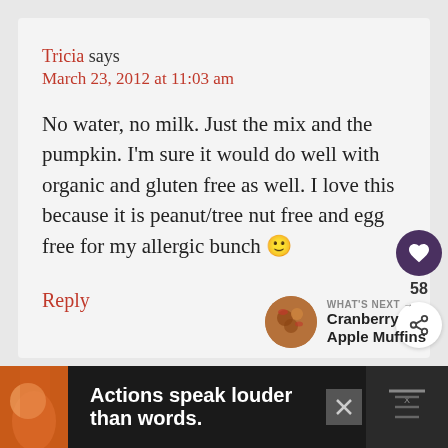Tricia says
March 23, 2012 at 11:03 am
No water, no milk. Just the mix and the pumpkin. I'm sure it would do well with organic and gluten free as well. I love this because it is peanut/tree nut free and egg free for my allergic bunch 🙂
Reply
WHAT'S NEXT → Cranberry Apple Muffins
Actions speak louder than words.